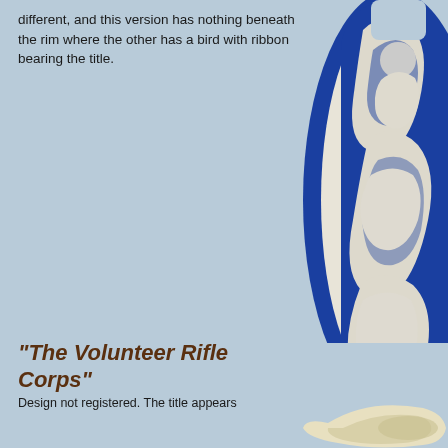different, and this version has nothing beneath the rim where the other has a bird with ribbon bearing the title.
[Figure (photo): Partial view of a blue and white Wedgwood-style jasperware vase with classical figures in relief on the right side of the page]
[Figure (photo): Partial view of a cream/yellow colored ceramic or porcelain piece at the bottom right corner]
"The Volunteer Rifle Corps"
Design not registered. The title appears